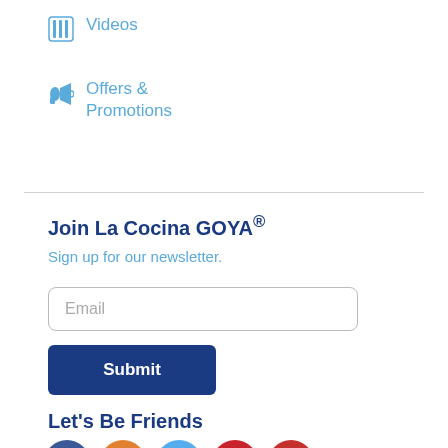Videos
Offers & Promotions
Join La Cocina GOYA®
Sign up for our newsletter.
Email
Submit
Let's Be Friends
[Figure (illustration): Social media icons: Facebook (dark blue), Instagram (orange/yellow), Twitter (light blue), Pinterest (red), YouTube (red)]